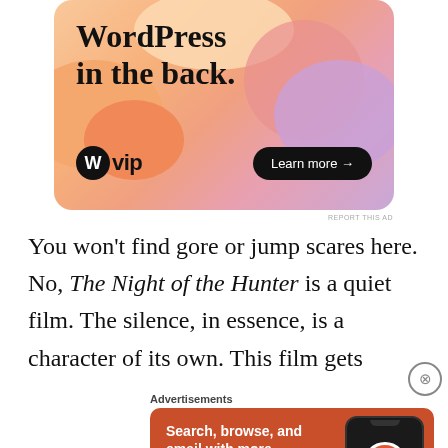[Figure (illustration): WordPress VIP advertisement banner with colorful gradient blobs background. Text reads 'WordPress in the back.' with WordPress VIP logo and 'Learn more →' button.]
You won't find gore or jump scares here. No, The Night of the Hunter is a quiet film. The silence, in essence, is a character of its own. This film gets
Advertisements
[Figure (illustration): DuckDuckGo advertisement. Orange background with text 'Search, browse, and email with more privacy.' 'All in One Free App' button and a phone mockup with DuckDuckGo logo.]